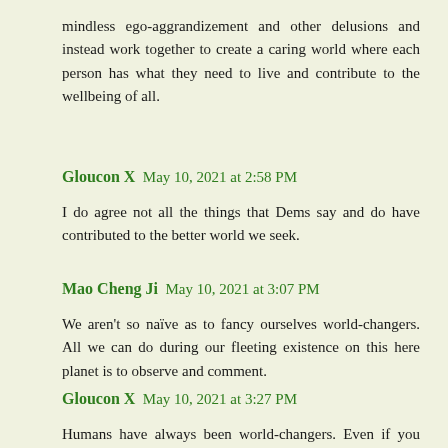mindless ego-aggrandizement and other delusions and instead work together to create a caring world where each person has what they need to live and contribute to the wellbeing of all.
Gloucon X  May 10, 2021 at 2:58 PM
I do agree not all the things that Dems say and do have contributed to the better world we seek.
Mao Cheng Ji  May 10, 2021 at 3:07 PM
We aren't so naïve as to fancy ourselves world-changers. All we can do during our fleeting existence on this here planet is to observe and comment.
Gloucon X  May 10, 2021 at 3:27 PM
Humans have always been world-changers. Even if you desire to stick you head in the sand, the world's still going to change with you or without you.